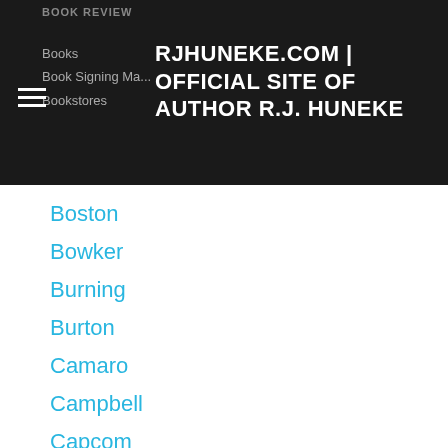RJHUNEKE.COM | OFFICIAL SITE OF AUTHOR R.J. HUNEKE
Boston
Bowker
Burning
Burton
Camaro
Campbell
Capcom
Capitol
Capitol Movement
Catherynne M. Valente
Ccc
Central Park
Chapbook
China
China Mieville